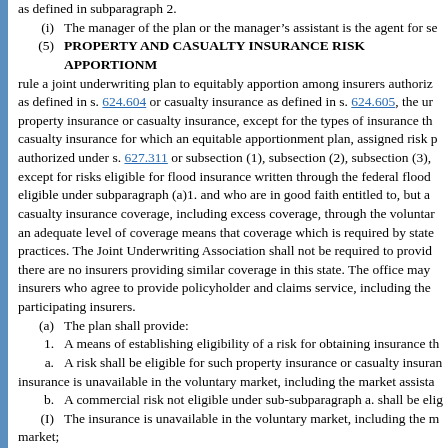as defined in subparagraph 2.
(i)   The manager of the plan or the manager’s assistant is the agent for se
(5)   PROPERTY AND CASUALTY INSURANCE RISK APPORTIONM
rule a joint underwriting plan to equitably apportion among insurers authoriz
as defined in s. 624.604 or casualty insurance as defined in s. 624.605, the ur
property insurance or casualty insurance, except for the types of insurance th
casualty insurance for which an equitable apportionment plan, assigned risk p
authorized under s. 627.311 or subsection (1), subsection (2), subsection (3),
except for risks eligible for flood insurance written through the federal flood
eligible under subparagraph (a)1. and who are in good faith entitled to, but ar
casualty insurance coverage, including excess coverage, through the voluntar
an adequate level of coverage means that coverage which is required by state
practices. The Joint Underwriting Association shall not be required to provid
there are no insurers providing similar coverage in this state. The office may
insurers who agree to provide policyholder and claims service, including the
participating insurers.
(a)   The plan shall provide:
1.    A means of establishing eligibility of a risk for obtaining insurance th
a.    A risk shall be eligible for such property insurance or casualty insuran
insurance is unavailable in the voluntary market, including the market assista
b.    A commercial risk not eligible under sub-subparagraph a. shall be elig
(I)   The insurance is unavailable in the voluntary market, including the m
market;